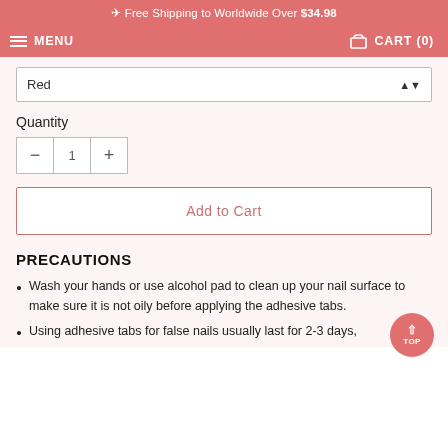✈ Free Shipping to Worldwide Over $34.98
MENU   CART (0)
Red
Quantity
- 1 +
Add to Cart
PRECAUTIONS
Wash your hands or use alcohol pad to clean up your nail surface to make sure it is not oily before applying the adhesive tabs.
Using adhesive tabs for false nails usually last for 2-3 days,